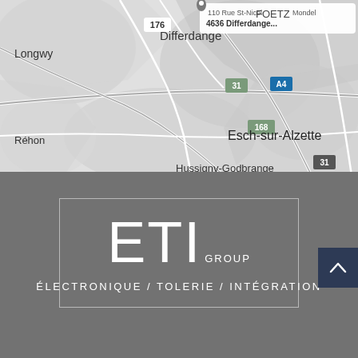[Figure (map): Google Maps screenshot showing the area around Differdange, Luxembourg. Shows road network with labels including: 110 Rue St-Nicolas, 4636 Differdange, Longwy, Réhon, Hussigny-Godbrange, Esch-sur-Alzette, FOETZ, road numbers 176, 31, A4, 168, 31. A location pin marker is visible near Differdange.]
[Figure (logo): ETI GROUP logo in white text on dark grey background inside a bordered rectangle. Large letters ETI with smaller GROUP text. Below: ÉLECTRONIQUE / TOLERIE / INTÉGRATION tagline.]